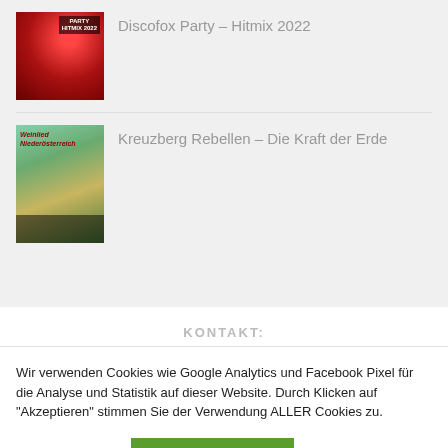[Figure (illustration): Album cover thumbnail for Discofox Party – Hitmix 2022, red/dark tones with disco imagery]
Discofox Party – Hitmix 2022
[Figure (illustration): Album cover thumbnail for Kreuzberg Rebellen – Die Kraft der Erde, vineyard/nature imagery with green and golden tones]
Kreuzberg Rebellen – Die Kraft der Erde
KONTAKT:
Wir verwenden Cookies wie Google Analytics und Facebook Pixel für die Analyse und Statistik auf dieser Website. Durch Klicken auf "Akzeptieren" stimmen Sie der Verwendung ALLER Cookies zu.
Cookie settings
AKZEPTIEREN